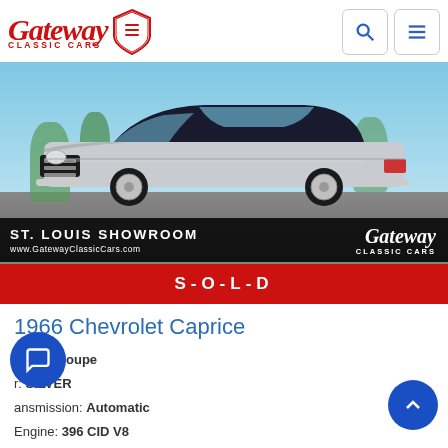[Figure (logo): Gateway Classic Cars logo with red script text and shield emblem]
[Figure (photo): 1966 Chevrolet Caprice silver coupe at Gateway Classic Cars St. Louis Showroom, with SOLD banner overlay]
1966 Chevrolet Caprice
model: Coupe
Color: SILVER
Transmission: Automatic
Engine: 396 CID V8